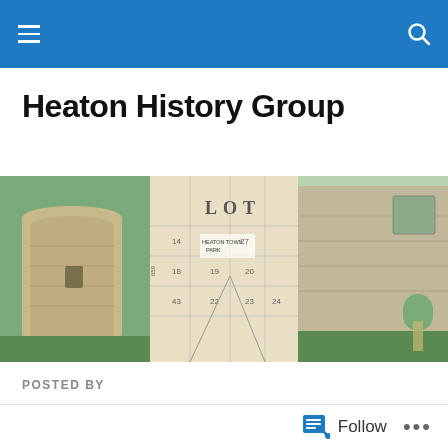Heaton History Group website navigation bar
Heaton History Group
[Figure (photo): Banner composite image: left panel shows a stone tower ruin against a sky background; centre panel shows an old land survey or map with 'HEATON TOWN PARK' labelled and numbered lots; right panel shows a ruined stone castle wall with an archway and green grass.]
POSTED BY
[Figure (photo): Black-and-white historical photograph captioned 'The New Bowling Green, Heaton Park, Newcastle.' showing trees and an open green area.]
Follow • • •